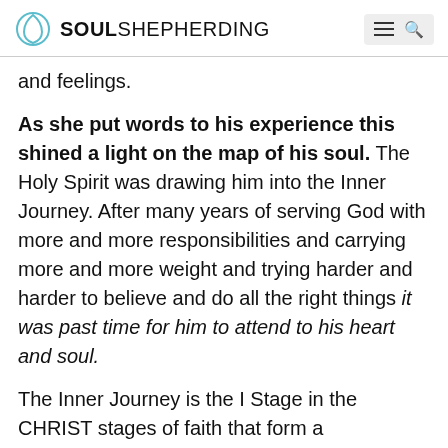SOUL SHEPHERDING
and feelings.
As she put words to his experience this shined a light on the map of his soul. The Holy Spirit was drawing him into the Inner Journey. After many years of serving God with more and more responsibilities and carrying more and more weight and trying harder and harder to believe and do all the right things it was past time for him to attend to his heart and soul.
The Inner Journey is the I Stage in the CHRIST stages of faith that form a discipleship path for